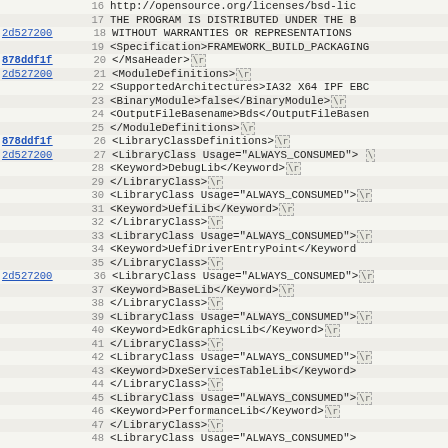[Figure (screenshot): Source code viewer showing XML file lines 16-48, with line annotations (commit hashes 2d527200 and 878ddf1f as hyperlinks) in the left margin, line numbers in gray, and XML code content for a firmware module definition file (MsaHeader, ModuleDefinitions, LibraryClassDefinitions sections).]